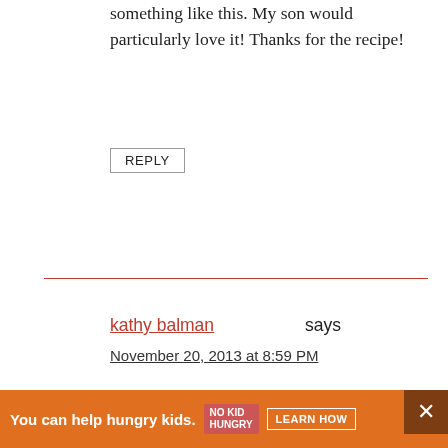something like this. My son would particularly love it! Thanks for the recipe!
REPLY
kathy balman says
November 20, 2013 at 8:59 PM
yum this looks amazing…,.so did you see the rockets?
Join Our Newsletter
Free Delivery! Receive previews of recipes, printables, and other fun news.
Enter your email address
You can help hungry kids.
LEARN HOW